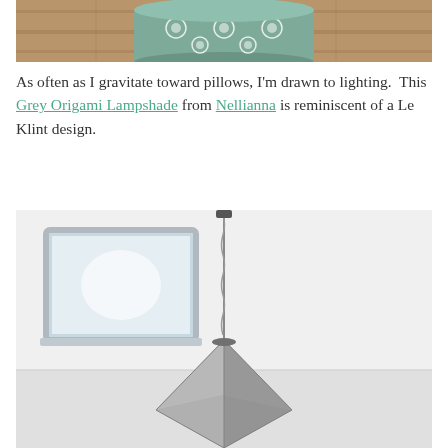[Figure (photo): Close-up photo of a green and white patterned ceramic pot sitting on a wooden floor]
As often as I gravitate toward pillows, I'm drawn to lighting. This Grey Origami Lampshade from Nellianna is reminiscent of a Le Klint design.
[Figure (photo): Photo of a grey origami-style pendant lampshade hanging from the ceiling with a twisted cable, with a frosted window visible in the background]